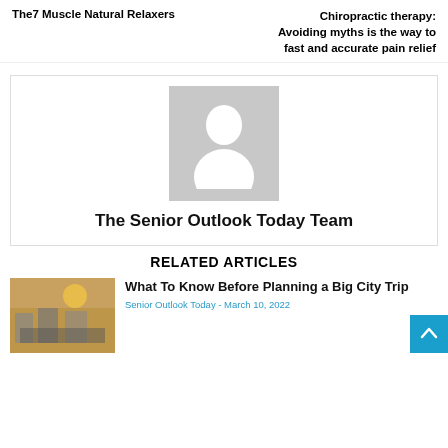The7 Muscle Natural Relaxers
Chiropractic therapy: Avoiding myths is the way to fast and accurate pain relief
[Figure (photo): Grey placeholder avatar image with silhouette of a person]
The Senior Outlook Today Team
RELATED ARTICLES
[Figure (photo): Thumbnail image showing a city street scene with cars and people]
What To Know Before Planning a Big City Trip
Senior Outlook Today  - March 10, 2022